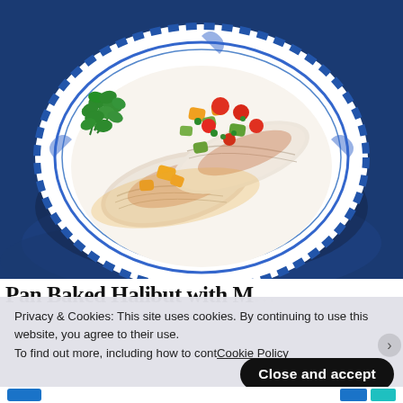[Figure (photo): A white and blue decorative plate on a dark blue cloth napkin, holding two pieces of baked white fish topped with colorful mango salsa (red tomatoes, orange mango, green avocado, cilantro). Fresh cilantro garnish on the side.]
Pan Baked Halibut with M...
Privacy & Cookies: This site uses cookies. By continuing to use this website, you agree to their use.
To find out more, including how to cont... Cookie Policy
Close and accept